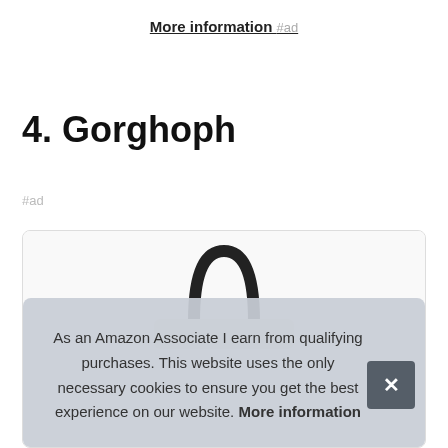More information #ad
4. Gorghoph
#ad
[Figure (illustration): Product card showing a colorful bag/backpack illustration partially visible, with a cookie consent banner overlay.]
As an Amazon Associate I earn from qualifying purchases. This website uses the only necessary cookies to ensure you get the best experience on our website. More information